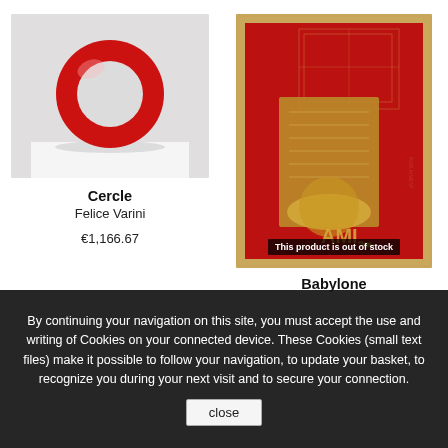[Figure (photo): Photo of a red circular torus sculpture on a white pedestal against a light grey background]
Cercle
Felice Varini
€1,166.67
[Figure (photo): Framed artwork with red background showing golden architectural/blueprint imagery with text 'This product is out of stock' banner]
Babylone
By continuing your navigation on this site, you must accept the use and writing of Cookies on your connected device. These Cookies (small text files) make it possible to follow your navigation, to update your basket, to recognize you during your next visit and to secure your connection.
close